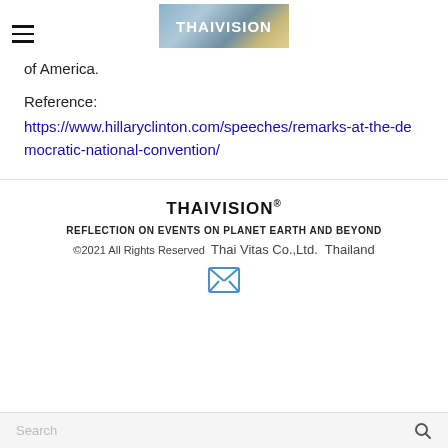THAIVISION
of America.
Reference:
https://www.hillaryclinton.com/speeches/remarks-at-the-democratic-national-convention/
THAIVISION®
REFLECTION ON EVENTS ON PLANET EARTH AND BEYOND
©2021 All Rights Reserved  Thai Vitas Co.,Ltd.  Thailand